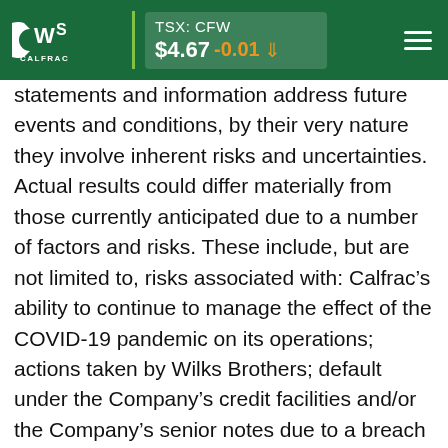CWS CALFRAC | TSX: CFW $4.67 -0.01
statements and information address future events and conditions, by their very nature they involve inherent risks and uncertainties. Actual results could differ materially from those currently anticipated due to a number of factors and risks. These include, but are not limited to, risks associated with: Calfrac’s ability to continue to manage the effect of the COVID-19 pandemic on its operations; actions taken by Wilks Brothers; default under the Company’s credit facilities and/or the Company’s senior notes due to a breach of covenants therein; failure to reach any additional agreements with the Company’s lenders; the impact of events of defaults in respect of other material contracts of the Company, including but not limited to, cross-defaults resulting in acceleration of amounts payable thereunder or